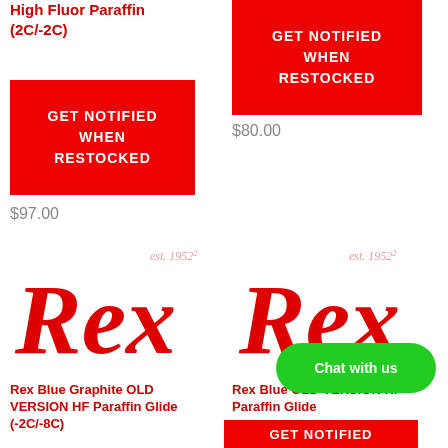High Fluor Paraffin (2C/-2C)
[Figure (other): Red GET NOTIFIED WHEN RESTOCKED button]
$97.00
[Figure (logo): Rex est. 1952 logo in red script]
Rex Blue Graphite OLD VERSION HF Paraffin Glide (-2C/-8C)
[Figure (other): Red GET NOTIFIED WHEN RESTOCKED button (right column)]
$80.00
[Figure (logo): Rex est. 1952 logo in red script]
Rex Blue OLD VERSION HF Paraffin Glide
[Figure (other): Green Chat with us button]
[Figure (other): Partial red GET NOTIFIED button at bottom]